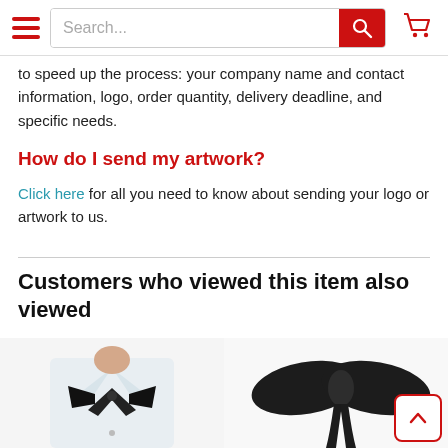Navigation bar with hamburger menu, search box, and cart icon
to speed up the process: your company name and contact information, logo, order quantity, delivery deadline, and specific needs.
How do I send my artwork?
Click here for all you need to know about sending your logo or artwork to us.
Customers who viewed this item also viewed
[Figure (photo): Person wearing a black crossbow tie on a white dress shirt]
[Figure (photo): Black self-tie bow tie laid flat on white background]